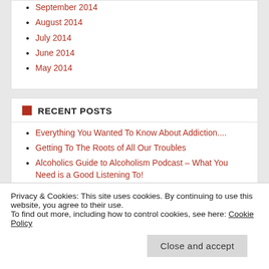September 2014
August 2014
July 2014
June 2014
May 2014
RECENT POSTS
Everything You Wanted To Know About Addiction....
Getting To The Roots of All Our Troubles
Alcoholics Guide to Alcoholism Podcast – What You Need is a Good Listening To!
Addiction As a Brain Disorder of Emotion Regulation – Part 4
Alcoholics Guide to Alcoholism – The Family Disease of Of Alcoholism
Privacy & Cookies: This site uses cookies. By continuing to use this website, you agree to their use.
To find out more, including how to control cookies, see here: Cookie Policy
Keys To Recovery Interview